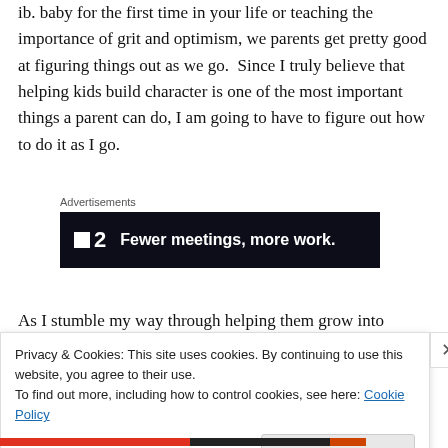ib. baby for the first time in your life or teaching the importance of grit and optimism, we parents get pretty good at figuring things out as we go.  Since I truly believe that helping kids build character is one of the most important things a parent can do, I am going to have to figure out how to do it as I go.
[Figure (other): Advertisement banner for a project management tool. Dark navy background with white logo (small square icon followed by '2') and bold white text: 'Fewer meetings, more work.']
As I stumble my way through helping them grow into
b... and more of the challenges they give me and more that will
Privacy & Cookies: This site uses cookies. By continuing to use this website, you agree to their use.
To find out more, including how to control cookies, see here: Cookie Policy